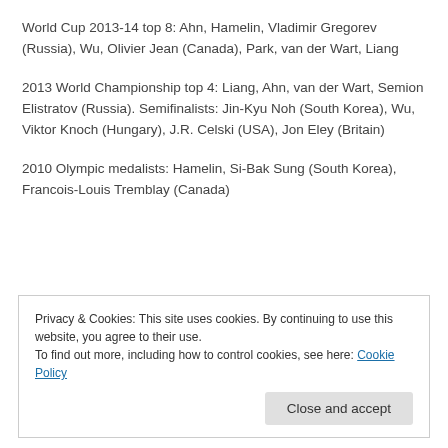World Cup 2013-14 top 8: Ahn, Hamelin, Vladimir Gregorev (Russia), Wu, Olivier Jean (Canada), Park, van der Wart, Liang
2013 World Championship top 4: Liang, Ahn, van der Wart, Semion Elistratov (Russia). Semifinalists: Jin-Kyu Noh (South Korea), Wu, Viktor Knoch (Hungary), J.R. Celski (USA), Jon Eley (Britain)
2010 Olympic medalists: Hamelin, Si-Bak Sung (South Korea), Francois-Louis Tremblay (Canada)
Privacy & Cookies: This site uses cookies. By continuing to use this website, you agree to their use.
To find out more, including how to control cookies, see here: Cookie Policy